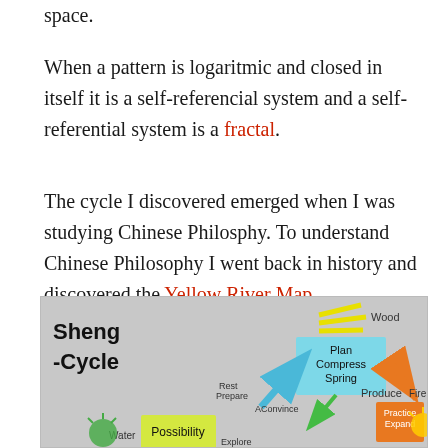space.
When a pattern is logaritmic and closed in itself it is a self-referencial system and a self-referential system is a fractal.
The cycle I discovered emerged when I was studying Chinese Philosphy. To understand Chinese Philosophy I went back in history and discovered the Yellow River Map.
[Figure (infographic): Sheng Cycle diagram showing Wood, Plan/Compress/Spring, Produce, Practice/Expand/Fire, Water/Possibility nodes with colored arrows on gray background]